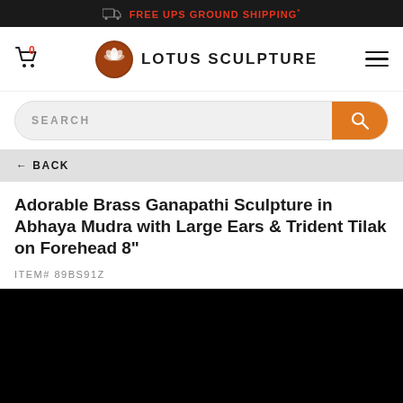FREE UPS GROUND SHIPPING*
[Figure (logo): Lotus Sculpture logo with lotus flower icon and text LOTUS SCULPTURE]
SEARCH
← BACK
Adorable Brass Ganapathi Sculpture in Abhaya Mudra with Large Ears & Trident Tilak on Forehead 8"
ITEM# 89BS91Z
[Figure (photo): Product photo area — black/dark image of Ganapathi sculpture]